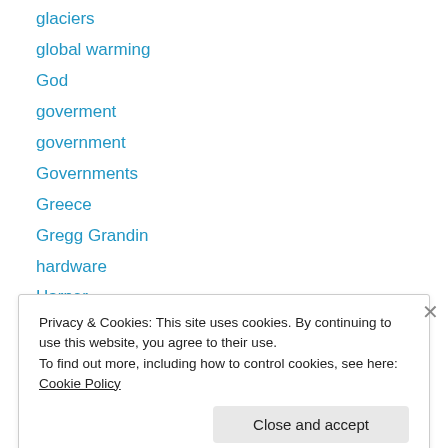glaciers
global warming
God
goverment
government
Governments
Greece
Gregg Grandin
hardware
Harper
Health
hedgefunds
history
Privacy & Cookies: This site uses cookies. By continuing to use this website, you agree to their use.
To find out more, including how to control cookies, see here: Cookie Policy